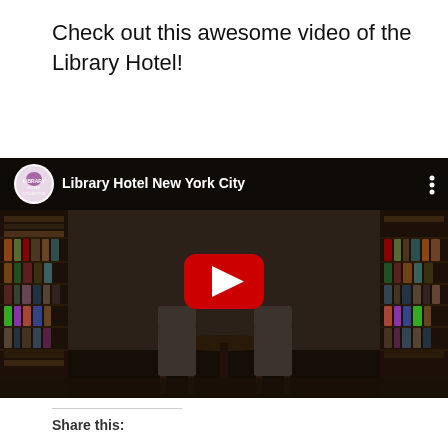Check out this awesome video of the Library Hotel!
[Figure (screenshot): YouTube video thumbnail showing Library Hotel New York City — a dark hotel library interior with bookshelves on both sides, a table and chairs in the center, a cursive wall mural, and a YouTube play button overlay. The video title bar shows the Library Hotel Collection channel logo and 'Library Hotel New York City'.]
Share this: